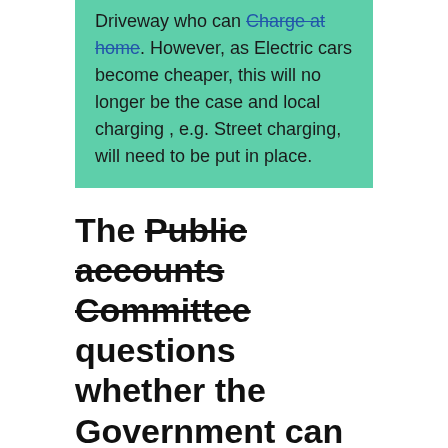Driveway who can Charge at home. However, as Electric cars become cheaper, this will no longer be the case and local charging , e.g. Street charging, will need to be put in place.
The Public accounts Committee questions whether the Government can achieve its Electric vehicle targets
The government has a “mountain to climb” to